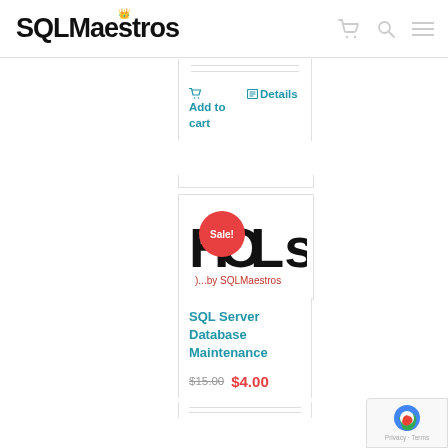[Figure (logo): SQLMaestros logo with crown icon and text]
Add to cart   Details
[Figure (logo): HOLs by SQLMaestros product image with Sale! badge overlay]
SQL Server Database Maintenance
$15.00  $4.00